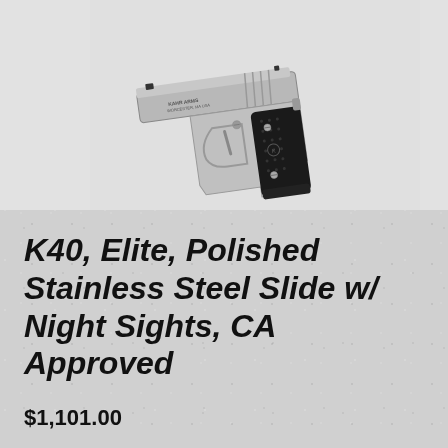[Figure (photo): A Kahr K40 Elite pistol with polished stainless steel slide and black textured grips, photographed against a light gray background, shown at an angle with the barrel pointing left and upward.]
K40, Elite, Polished Stainless Steel Slide w/ Night Sights, CA Approved
$1,101.00